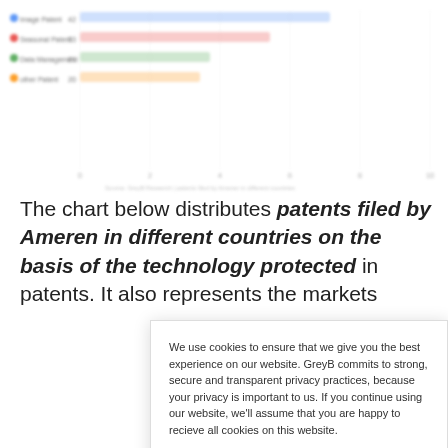[Figure (other): Partial horizontal bar chart showing patent data, partially visible at top of page, with legend items including 'Image Patent', 'Seasonal Patent', 'Data Management', and 'other Patent']
The chart below distributes patents filed by Ameren in different countries on the basis of the technology protected in patents. It also represents the markets
We use cookies to ensure that we give you the best experience on our website. GreyB commits to strong, secure and transparent privacy practices, because your privacy is important to us. If you continue using our website, we'll assume that you are happy to recieve all cookies on this website.

If you decline, your information won't be tracked when you visit this website. A single cookie will be used in your browser to remember your preference not to be tracked.
Continue
Learn More